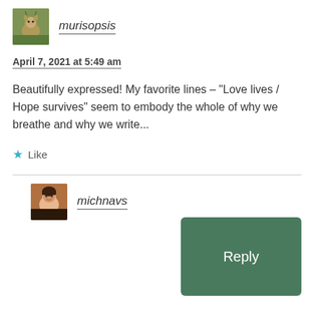[Figure (photo): Small square avatar image of a deer/fawn in a green outdoor setting]
murisopsis
April 7, 2021 at 5:49 am
Beautifully expressed! My favorite lines – “Love lives / Hope survives” seem to embody the whole of why we breathe and why we write...
Like
Reply
[Figure (photo): Small square avatar photo of a woman smiling]
michnavs